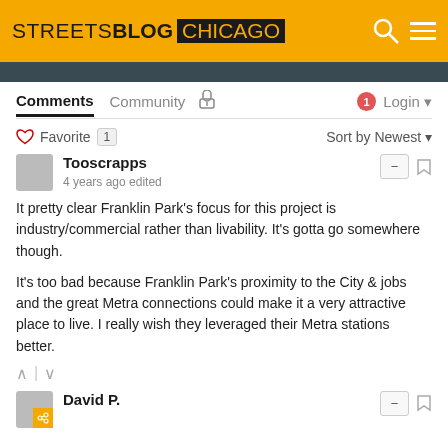STREETSBLOG CHICAGO
Comments  Community  Login
Favorite 1  Sort by Newest
Tooscrapps
4 years ago edited
It pretty clear Franklin Park's focus for this project is industry/commercial rather than livability. It's gotta go somewhere though.
It's too bad because Franklin Park's proximity to the City & jobs and the great Metra connections could make it a very attractive place to live. I really wish they leveraged their Metra stations better.
David P.